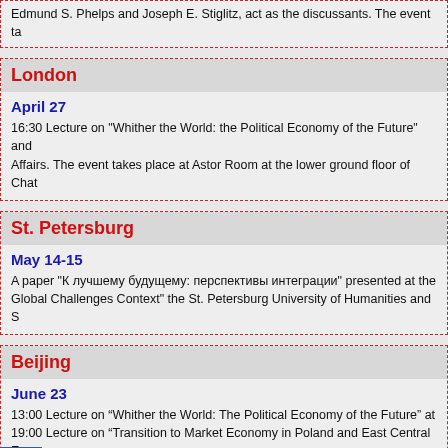Edmund S. Phelps and Joseph E. Stiglitz, act as the discussants. The event ta
London
April 27
16:30 Lecture on "Whither the World: the Political Economy of the Future" and Affairs. The event takes place at Astor Room at the lower ground floor of Chat
St. Petersburg
May 14-15
A paper "К лучшему будущему: перспективы интеграции" presented at the Global Challenges Context" the St. Petersburg University of Humanities and S
Beijing
June 23
13:00 Lecture on “Whither the World: The Political Economy of the Future” at
19:00 Lecture on “Transition to Market Economy in Poland and East Central E
Beijing